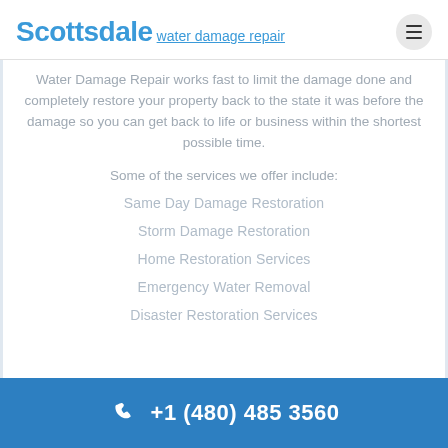Scottsdale water damage repair
Water Damage Repair works fast to limit the damage done and completely restore your property back to the state it was before the damage so you can get back to life or business within the shortest possible time.
Some of the services we offer include:
Same Day Damage Restoration
Storm Damage Restoration
Home Restoration Services
Emergency Water Removal
Disaster Restoration Services
+1 (480) 485 3560